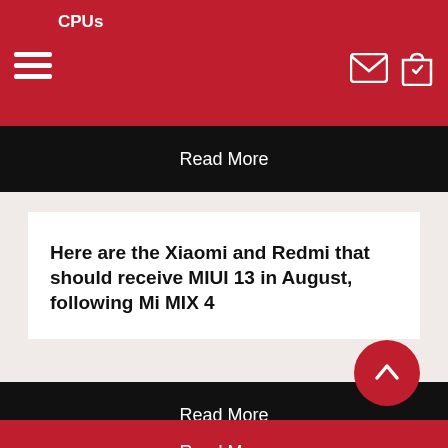CPUs
Read More
Here are the Xiaomi and Redmi that should receive MIUI 13 in August, following Mi MIX 4
Read More
HarmonyOS: Android applications work with the OS, Huawei explains why
Read More